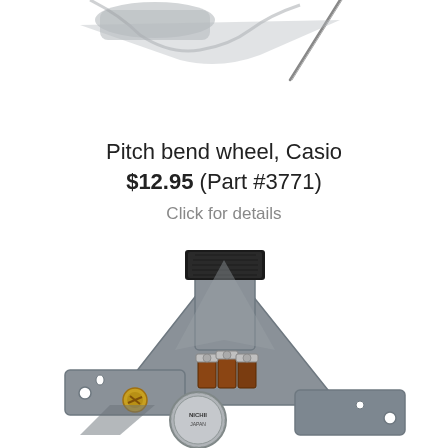[Figure (photo): Partial view of a pitch bend wheel assembly for Casio keyboard, showing metal bracket with wire, top portion cropped]
Pitch bend wheel, Casio
$12.95 (Part #3771)
Click for details
[Figure (photo): Pitch bend wheel assembly for Casio keyboard — gray metal bracket with black foam/felt strip on top arm, potentiometer with terminals and round metal cap labeled JAPAN, screws and mounting holes visible]